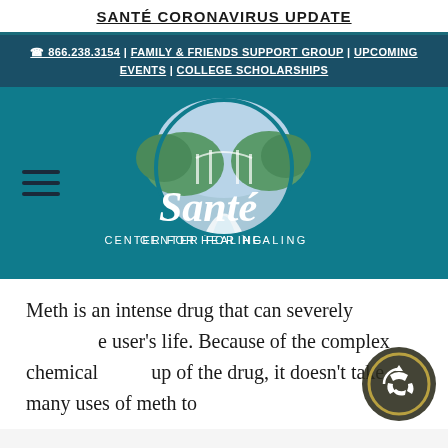SANTÉ CORONAVIRUS UPDATE
☎ 866.238.3154 | FAMILY & FRIENDS SUPPORT GROUP | UPCOMING EVENTS | COLLEGE SCHOLARSHIPS
[Figure (logo): Santé Center for Healing logo on teal background with circular landscape illustration and script text]
Meth is an intense drug that can severely [affect the] user's life. Because of the complex chemical [make]up of the drug, it doesn't take many uses of meth to